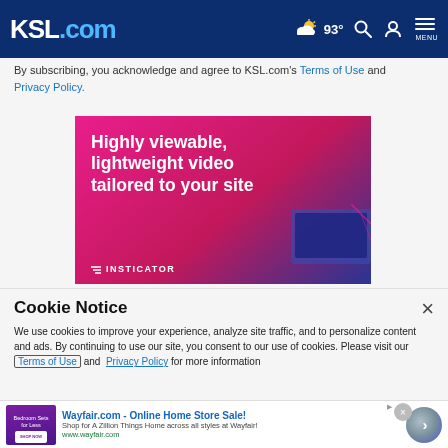KSL.com  93°  Search  Account  MENU
By subscribing, you acknowledge and agree to KSL.com's Terms of Use and Privacy Policy.
[Figure (infographic): Insticator ad banner: pink/magenta background with text 'Highly viewable, lightweight video tailored to your site' and Insticator logo at bottom left, decorative device image at bottom right.]
Cookie Notice
We use cookies to improve your experience, analyze site traffic, and to personalize content and ads. By continuing to use our site, you consent to our use of cookies. Please visit our Terms of Use and Privacy Policy for more information
[Figure (infographic): Wayfair.com ad bar: thumbnail with purple bedroom furniture image, text 'Wayfair.com - Online Home Store Sale! Shop for A Zillion Things Home across all styles at Wayfair! www.wayfair.com', close button and arrow button on right.]